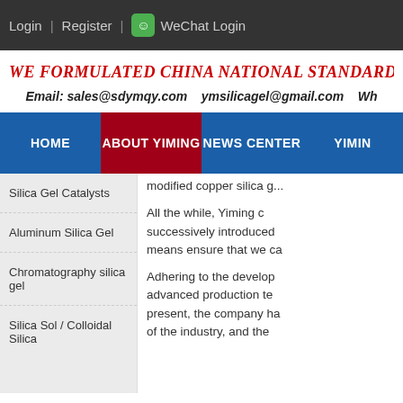Login | Register | WeChat Login
WE FORMULATED CHINA NATIONAL STANDARD
Email: sales@sdymqy.com  ymsilicagel@gmail.com  Wh...
HOME | ABOUT YIMING | NEWS CENTER | YIMING
Silica Gel Catalysts
Aluminum Silica Gel
Chromatography silica gel
Silica Sol / Colloidal Silica
modified copper silica g...
All the while, Yiming c... successively introduced... means ensure that we ca...
Adhering to the develop... advanced production te... present, the company ha... of the industry, and the...